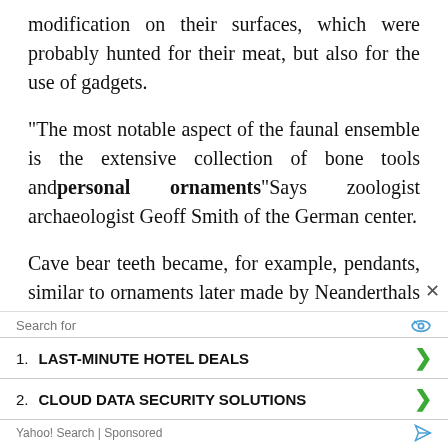modification on their surfaces, which were probably hunted for their meat, but also for the use of gadgets.
“The most notable aspect of the faunal ensemble is the extensive collection of bone tools and personal ornaments”Says zoologist archaeologist Geoff Smith of the German center.
Cave bear teeth became, for example, pendants, similar to ornaments later made by Neanderthals in Western Europe.
According to Fewlass, these sets of tools and ornaments from the beginning of the Uppe
[Figure (screenshot): Advertisement overlay with Yahoo! Search sponsored results showing: 1. LAST-MINUTE HOTEL DEALS, 2. CLOUD DATA SECURITY SOLUTIONS]